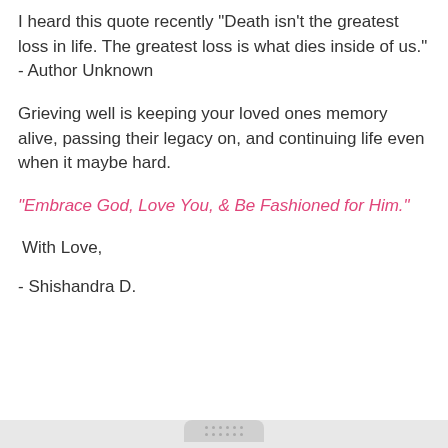I heard this quote recently "Death isn't the greatest loss in life.  The greatest loss is what dies inside of us."  - Author Unknown
Grieving well is keeping your loved ones memory alive, passing their legacy on, and continuing life even when it maybe hard.
“Embrace God, Love You, & Be Fashioned for Him.”
With Love,
- Shishandra D.